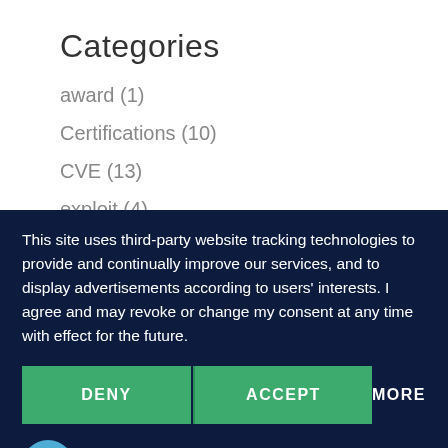Categories
award (1)
Certifications (10)
CVE (13)
exploit (4)
This site uses third-party website tracking technologies to provide and continually improve our services, and to display advertisements according to users' interests. I agree and may revoke or change my consent at any time with effect for the future.
DENY | ACCEPT | MORE
Powered by usercentrics &